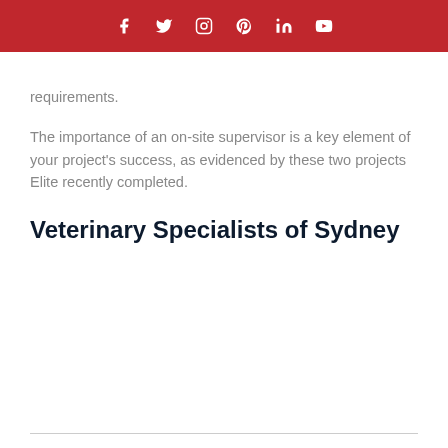social media icons: facebook, twitter, instagram, pinterest, linkedin, youtube
requirements.
The importance of an on-site supervisor is a key element of your project's success, as evidenced by these two projects Elite recently completed.
Veterinary Specialists of Sydney